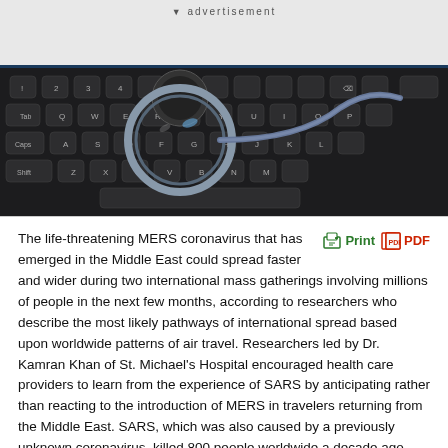advertisement
[Figure (photo): A stethoscope resting on a laptop keyboard, representing digital health or telemedicine.]
The life-threatening MERS coronavirus that has emerged in the Middle East could spread faster and wider during two international mass gatherings involving millions of people in the next few months, according to researchers who describe the most likely pathways of international spread based upon worldwide patterns of air travel. Researchers led by Dr. Kamran Khan of St. Michael's Hospital encouraged health care providers to learn from the experience of SARS by anticipating rather than reacting to the introduction of MERS in travelers returning from the Middle East. SARS, which was also caused by a previously unknown coronavirus, killed 800 people worldwide a decade ago, including 44 in Toronto, and cost the Canadian economy an estimated $2